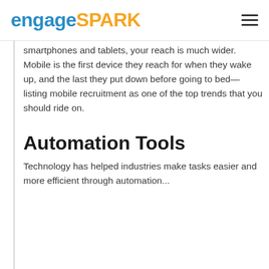engageSPARK
smartphones and tablets, your reach is much wider. Mobile is the first device they reach for when they wake up, and the last they put down before going to bed—listing mobile recruitment as one of the top trends that you should ride on.
Automation Tools
Technology has helped industries make tasks easier and more efficient through automation...